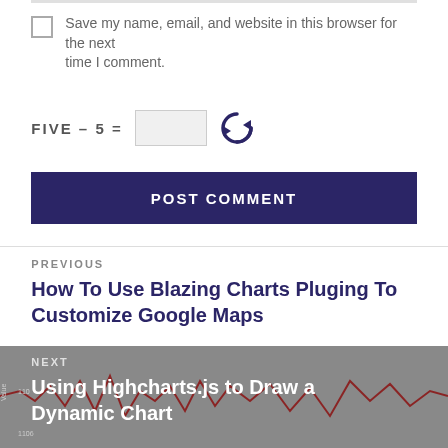Save my name, email, and website in this browser for the next time I comment.
FIVE – 5 =
POST COMMENT
PREVIOUS
How To Use Blazing Charts Pluging To Customize Google Maps
NEXT
Using Highcharts.js to Draw a Dynamic Chart